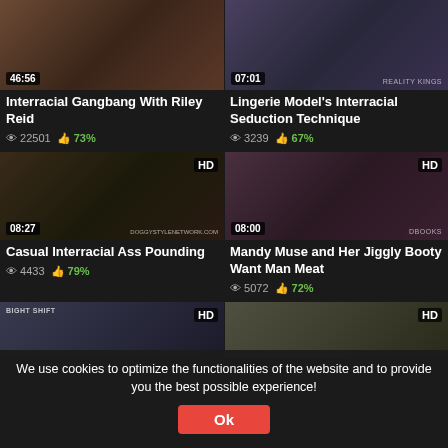[Figure (screenshot): Video thumbnail row 1 col 1 with time badge 46:56]
[Figure (screenshot): Video thumbnail row 1 col 2 with time badge 07:01 and REALITY KINGS watermark]
Interracial Gangbang With Riley Reid
👁 22501  👍 73%
Lingerie Model's Interracial Seduction Technique
👁 3239  👍 67%
[Figure (screenshot): Video thumbnail HD row 2 col 1 with time badge 08:27 and DOGGYSTYLENETWORK.COM watermark]
[Figure (screenshot): Video thumbnail HD row 2 col 2 with time badge 08:00 and DBOOKS watermark]
Casual Interracial Ass Pounding
👁 4433  👍 79%
Mandy Muse and Her Jiggly Booty Want Man Meat
👁 5072  👍 72%
[Figure (screenshot): Video thumbnail HD row 3 col 1 partial]
[Figure (screenshot): Video thumbnail HD row 3 col 2 partial]
We use cookies to optimize the functionalities of the website and to provide you the best possible experience!